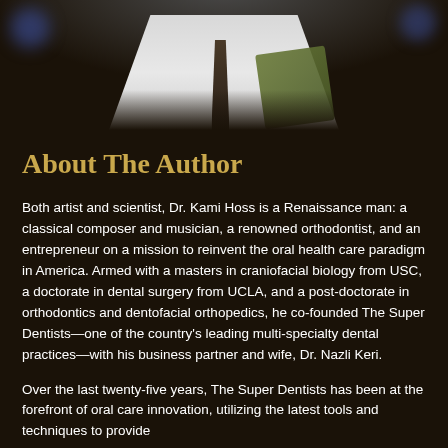[Figure (photo): Partial photo of a person wearing a white coat with an olive/green element visible, shown from chest down, on a dark background]
About The Author
Both artist and scientist, Dr. Kami Hoss is a Renaissance man: a classical composer and musician, a renowned orthodontist, and an entrepreneur on a mission to reinvent the oral health care paradigm in America. Armed with a masters in craniofacial biology from USC, a doctorate in dental surgery from UCLA, and a post-doctorate in orthodontics and dentofacial orthopedics, he co-founded The Super Dentists—one of the country's leading multi-specialty dental practices—with his business partner and wife, Dr. Nazli Keri.
Over the last twenty-five years, The Super Dentists has been at the forefront of oral care innovation, utilizing the latest tools and techniques to provide